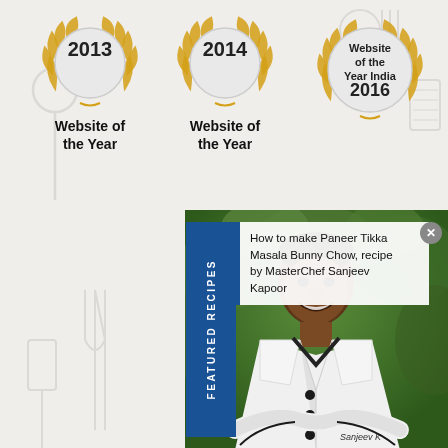[Figure (illustration): Kitchen utensils watermark background pattern: spoons, forks, ladles, spatulas, colanders, rolling pins drawn in outline style]
[Figure (illustration): Award badge for 2013 Website of the Year with golden laurel wreath]
[Figure (illustration): Award badge for 2014 Website of the Year with golden laurel wreath]
[Figure (illustration): Award badge for Website of the Year India 2016 with golden laurel wreath]
[Figure (photo): Photo of MasterChef Sanjeev Kapoor in white chef uniform, smiling, with green foliage background, arms crossed]
FEATURED RECIPES
How to make Paneer Tikka Masala Bunny Chow, recipe by MasterChef Sanjeev Kapoor